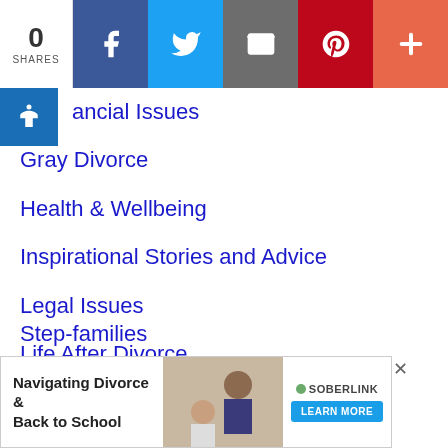[Figure (infographic): Social share bar with 0 shares count, Facebook (blue), Twitter (light blue), Email (gray), Pinterest (red), More (+) (orange-red) buttons]
ancial Issues
Gray Divorce
Health & Wellbeing
Inspirational Stories and Advice
Legal Issues
Life After Divorce
PODCASTS
Preparing for Divorce
Relationships and Dating
Step-families
[Figure (infographic): Advertisement banner: Navigating Divorce & Back to School with Soberlink logo and LEARN MORE button, with close X]